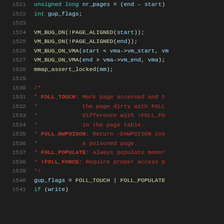Source code listing, lines 1521–1541, showing C code with variable declarations, VM_BUG_ON assertions, a block comment about FOLL flags, and gup_flags assignment.